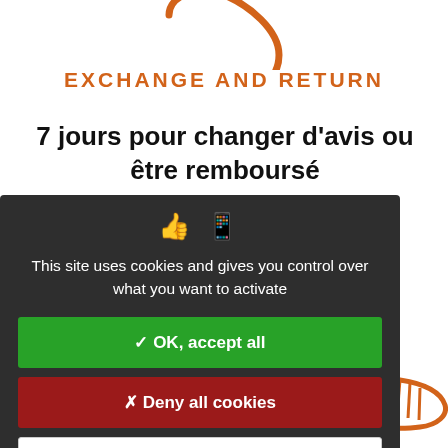[Figure (illustration): Orange curved arrow icon for exchange/return]
EXCHANGE AND RETURN
7 jours pour changer d'avis ou être remboursé
[Figure (screenshot): Cookie consent modal dialog with dark background showing thumbs up and mobile icons, text 'This site uses cookies and gives you control over what you want to activate', green OK button, red deny button, white personalize button, and privacy policy link]
This site uses cookies and gives you control over what you want to activate
✓ OK, accept all
✗ Deny all cookies
Personalize
Privacy policy